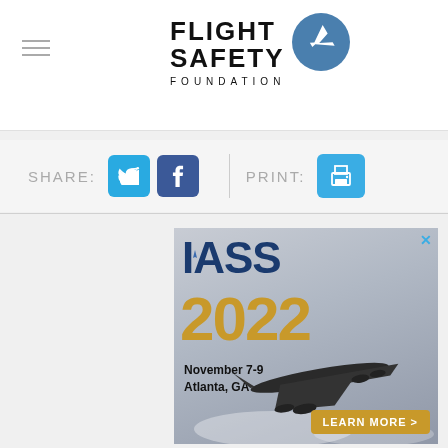[Figure (logo): Flight Safety Foundation logo with airplane icon in blue circle]
SHARE:
[Figure (infographic): Social share buttons: Twitter (blue bird icon) and Facebook (blue f icon), print button, and IASS 2022 advertisement banner with airplane photo, November 7-9, Atlanta GA, Learn More button]